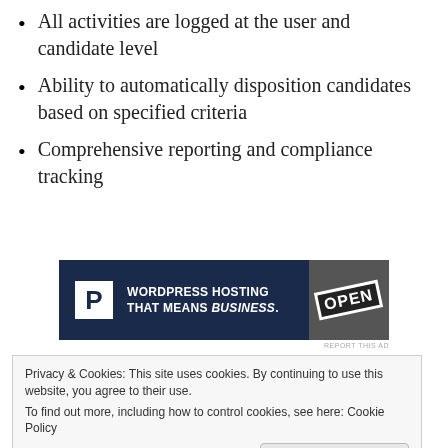All activities are logged at the user and candidate level
Ability to automatically disposition candidates based on specified criteria
Comprehensive reporting and compliance tracking
[Figure (other): Advertisement banner: WordPress Hosting That Means Business. with a P logo and an OPEN sign photo. Text: REPORT THIS AD below.]
We’re excited to help every company
Privacy & Cookies: This site uses cookies. By continuing to use this website, you agree to their use.
To find out more, including how to control cookies, see here: Cookie Policy
Close and accept
with complete details.